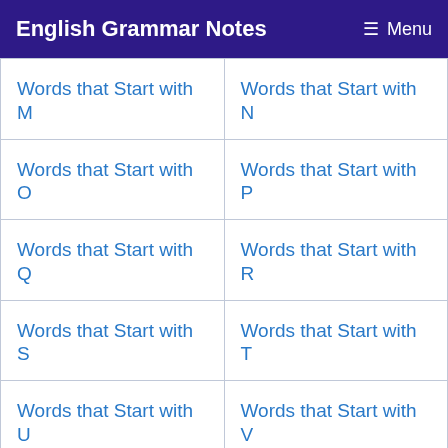English Grammar Notes   ≡ Menu
| Words that Start with M | Words that Start with N |
| Words that Start with O | Words that Start with P |
| Words that Start with Q | Words that Start with R |
| Words that Start with S | Words that Start with T |
| Words that Start with U | Words that Start with V |
| Words that Start with W | Words that Start with X |